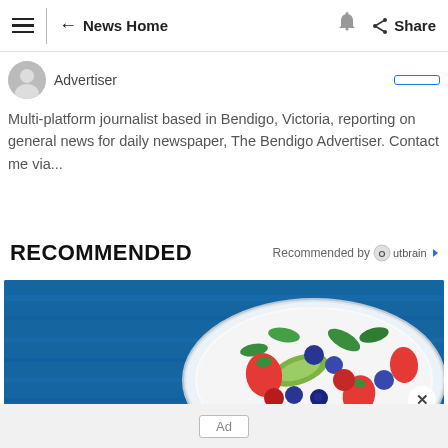News Home | Share
Advertiser
Multi-platform journalist based in Bendigo, Victoria, reporting on general news for daily newspaper, The Bendigo Advertiser. Contact me via...
RECOMMENDED
Recommended by Outbrain
[Figure (photo): A bowl of fresh fruit salad with strawberries, blueberries, raspberries, blackberries, avocado slices, and green leaves on a blue wooden surface.]
Ad